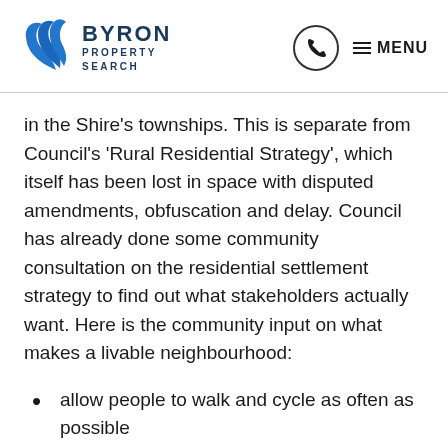Byron Property Search
in the Shire’s townships. This is separate from Council’s ‘Rural Residential Strategy’, which itself has been lost in space with disputed amendments, obfuscation and delay. Council has already done some community consultation on the residential settlement strategy to find out what stakeholders actually want. Here is the community input on what makes a livable neighbourhood:
allow people to walk and cycle as often as possible
easy access to work, the village centre